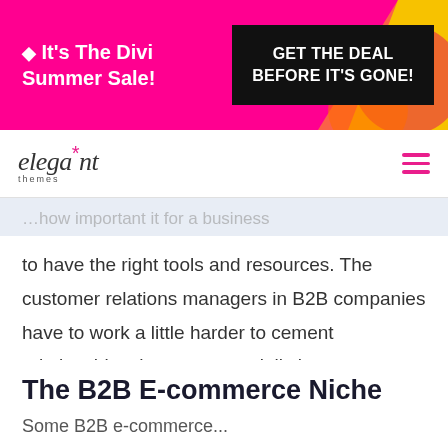[Figure (infographic): Pink promotional banner for Divi Summer Sale with black 'GET THE DEAL BEFORE IT'S GONE!' button and decorative yellow/orange/red shapes on right]
elegant themes (logo with navigation hamburger menu)
...how important it for a business to have the right tools and resources. The customer relations managers in B2B companies have to work a little harder to cement relationships that can potentially last years.
The B2B E-commerce Niche
Some B2B e-commerce...